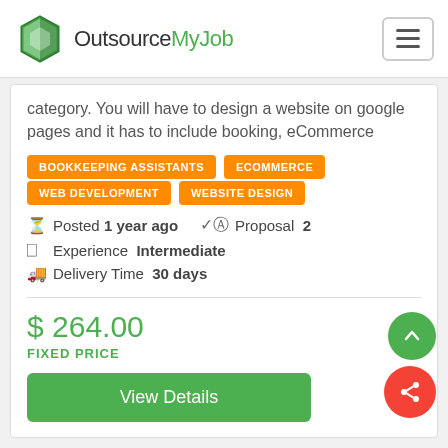[Figure (logo): OutsourceMyJob logo with hexagon icon and text]
category. You will have to design a website on google pages and it has to include booking, eCommerce
BOOKKEEPING ASSISTANTS
ECOMMERCE
WEB DEVELOPMENT
WEBSITE DESIGN
Posted 1 year ago  Proposal 2
Experience Intermediate
Delivery Time 30 days
$ 264.00
FIXED PRICE
View Details